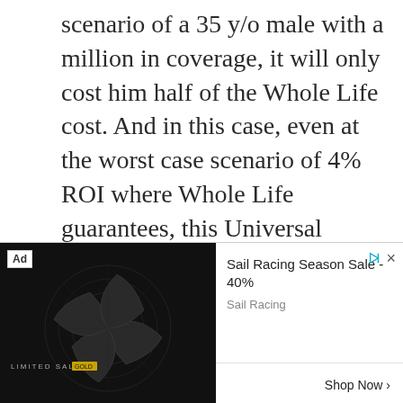scenario of a 35 y/o male with a million in coverage, it will only cost him half of the Whole Life cost. And in this case, even at the worst case scenario of 4% ROI where Whole Life guarantees, this Universal policy won't lapse. What is more glaring is that, the average return of this properly structured Universal Life policy is around 8%. So for half the cost( around $216k, this man
[Figure (other): Advertisement banner for Sail Racing Season Sale - 40%. Shows a dark background with a spiral/turbine graphic and 'LIMITED SALE' text. Ad label visible top-left. Controls (play, close) top-right. Right side shows ad title 'Sail Racing Season Sale - 40%', brand 'Sail Racing', and 'Shop Now >' button.]